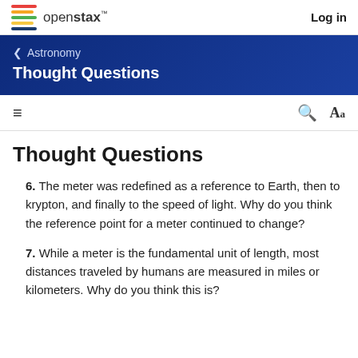openstax™    Log in
< Astronomy
Thought Questions
Thought Questions
6. The meter was redefined as a reference to Earth, then to krypton, and finally to the speed of light. Why do you think the reference point for a meter continued to change?
7. While a meter is the fundamental unit of length, most distances traveled by humans are measured in miles or kilometers. Why do you think this is?